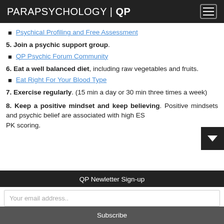PARAPSYCHOLOGY | QP
Psychical Profiling and Free Assessment
5. Join a psychic support group.
QP Psychic Forum Community
6. Eat a well balanced diet, including raw vegetables and fruits.
Eat Right For Your Blood Type
7. Exercise regularly. (15 min a day or 30 min three times a week)
8. Keep a positive mindset and keep believing. Positive mindsets and psychic belief are associated with high ES PK scoring.
QP Newletter Sign-up
Your email address..
Subscribe